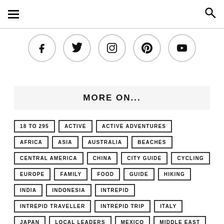[Figure (other): Social media icon buttons: Facebook, Twitter, Instagram, Pinterest, YouTube]
MORE ON...
18 TO 295
ACTIVE
ACTIVE ADVENTURES
AFRICA
ASIA
AUSTRALIA
BEACHES
CENTRAL AMERICA
CHINA
CITY GUIDE
CYCLING
EUROPE
FAMILY
FOOD
GUIDE
HIKING
INDIA
INDONESIA
INTREPID
INTREPID TRAVELLER
INTREPID TRIP
ITALY
JAPAN
LOCAL LEADERS
MEXICO
MIDDLE EAST
MOROCCO
NEPAL
NORTH AMERICA
PERU
PHOTOGRAPHY